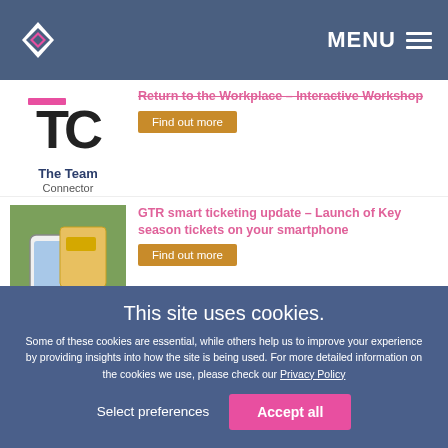[Figure (logo): Navigation bar with a diamond/arrow logo on the left and MENU with hamburger icon on the right, dark blue/slate background]
[Figure (screenshot): The Team Connector logo with TC monogram icon and text 'The Team Connector']
Return to the Workplace – Interactive Workshop
Find out more
[Figure (photo): Hand holding a smartphone and transport card, outdoor background]
GTR smart ticketing update – Launch of Key season tickets on your smartphone
Find out more
[Figure (photo): Portrait photo of a man (Tor-Arne Fosser)]
Tor-Arne Fosser joins Norwegian as new Executive Vice President of the Airline Ecosystem department
This site uses cookies.
Some of these cookies are essential, while others help us to improve your experience by providing insights into how the site is being used. For more detailed information on the cookies we use, please check our Privacy Policy
Select preferences
Accept all